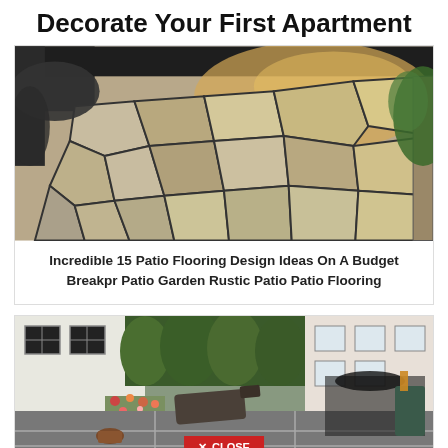Decorate Your First Apartment
[Figure (photo): Aerial view of a flagstone patio with irregular stone pieces separated by dark grout, surrounded by gravel and greenery]
Incredible 15 Patio Flooring Design Ideas On A Budget Breakpr Patio Garden Rustic Patio Patio Flooring
[Figure (photo): Outdoor patio with lounge chairs, garden furniture, colorful flowers along a white house wall, and a CLOSE button overlay at the bottom]